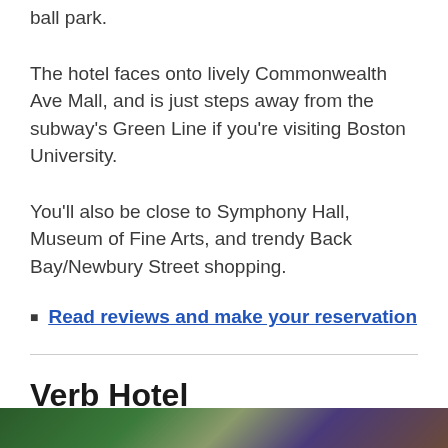ball park.
The hotel faces onto lively Commonwealth Ave Mall, and is just steps away from the subway's Green Line if you're visiting Boston University.
You'll also be close to Symphony Hall, Museum of Fine Arts, and trendy Back Bay/Newbury Street shopping.
Read reviews and make your reservation
Verb Hotel
[Figure (photo): Partial photo strip visible at bottom of page showing outdoor/nature scene]